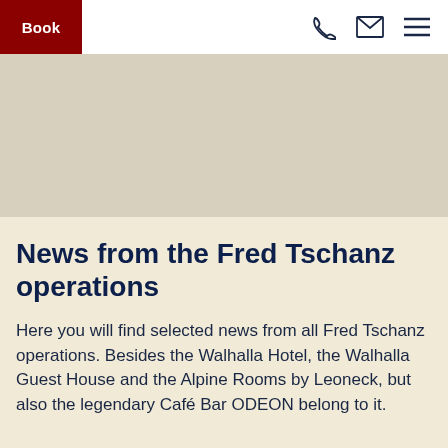Book
[Figure (other): Hero image placeholder – light beige/grey rectangle]
News from the Fred Tschanz operations
Here you will find selected news from all Fred Tschanz operations. Besides the Walhalla Hotel, the Walhalla Guest House and the Alpine Rooms by Leoneck, but also the legendary Café Bar ODEON belong to it.